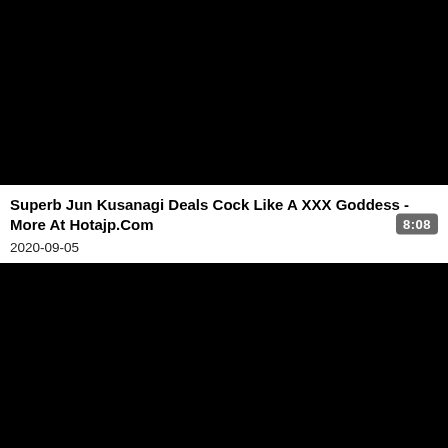[Figure (photo): Black video thumbnail (top)]
Superb Jun Kusanagi Deals Cock Like A XXX Goddess - More At Hotajp.Com
2020-09-05
8:08
[Figure (photo): Black video thumbnail (bottom)]